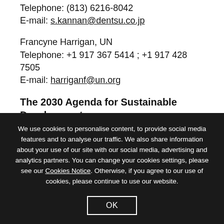Telephone: (813) 6216-8042
E-mail: s.kannan@dentsu.co.jp
Francyne Harrigan, UN
Telephone: +1 917 367 5414 ; +1 917 428 7505
E-mail: harriganf@un.org
The 2030 Agenda for Sustainable Development
In September 2015, UN Member States unanimously
We use cookies to personalise content, to provide social media features and to analyse our traffic. We also share information about your use of our site with our social media, advertising and analytics partners. You can change your cookies settings, please see our Cookies Notice. Otherwise, if you agree to our use of cookies, please continue to use our website.
OK